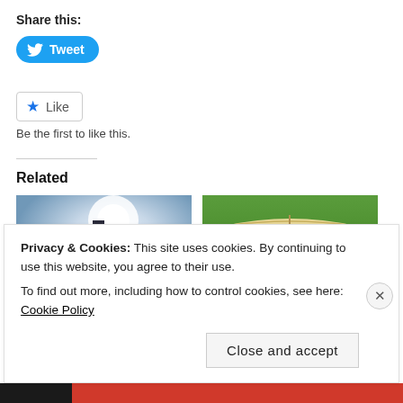Share this:
[Figure (other): Tweet button - blue rounded button with Twitter bird icon and text 'Tweet']
[Figure (other): Like button - white bordered button with blue star icon and text 'Like']
Be the first to like this.
Related
[Figure (photo): Photo of a cross silhouetted against a bright sky with sunlight]
[Figure (photo): Photo of open books stacked on grass outdoors]
Privacy & Cookies: This site uses cookies. By continuing to use this website, you agree to their use.
To find out more, including how to control cookies, see here: Cookie Policy
Close and accept